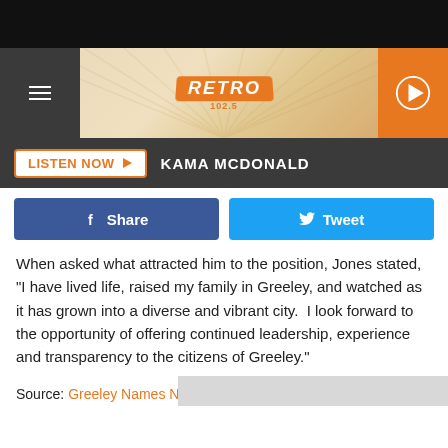[Figure (screenshot): Black top bar]
[Figure (screenshot): Retro radio station header banner with sunburst design, hamburger menu on left, RETRO logo in center, orange play button on right]
[Figure (screenshot): Dark gray bar with LISTEN NOW button and KAMA MCDONALD text]
[Figure (screenshot): Social share buttons: blue Facebook Share button and cyan Twitter Tweet button]
When asked what attracted him to the position, Jones stated, “I have lived life, raised my family in Greeley, and watched as it has grown into a diverse and vibrant city.  I look forward to the opportunity of offering continued leadership, experience and transparency to the citizens of Greeley.”
Source: Greeley Names New Police Chief After Old Chief Retires